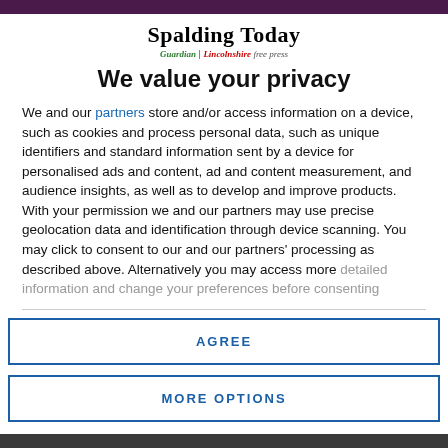[Figure (logo): Spalding Today newspaper logo with Guardian | Lincolnshire free press subtitle]
We value your privacy
We and our partners store and/or access information on a device, such as cookies and process personal data, such as unique identifiers and standard information sent by a device for personalised ads and content, ad and content measurement, and audience insights, as well as to develop and improve products. With your permission we and our partners may use precise geolocation data and identification through device scanning. You may click to consent to our and our partners' processing as described above. Alternatively you may access more detailed information and change your preferences before consenting
AGREE
MORE OPTIONS